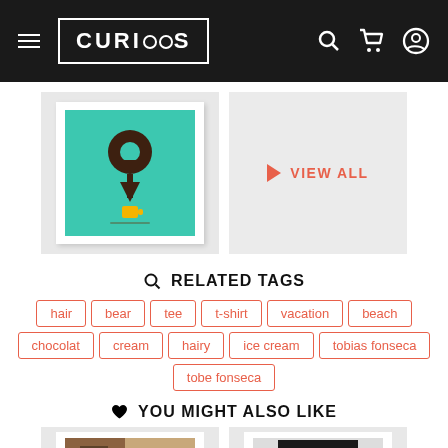CURIOOS
[Figure (illustration): Product image showing a teal poster with a brown map pin location icon and a small yellow coffee cup at the bottom, displayed in a white frame on a light gray background]
VIEW ALL
RELATED TAGS
hair
bear
tee
t-shirt
vacation
beach
chocolat
cream
hairy
ice cream
tobias fonseca
tobe fonseca
YOU MIGHT ALSO LIKE
[Figure (photo): Partial product thumbnail showing a colorful illustration]
[Figure (photo): Partial product thumbnail showing a dark/black themed image]